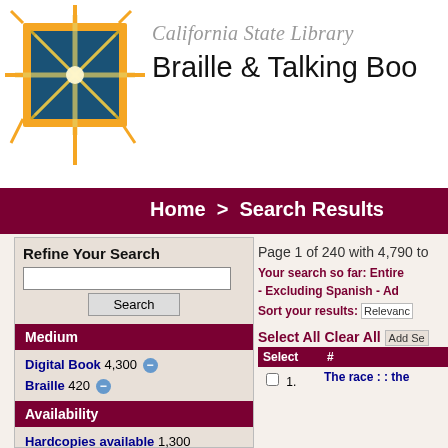[Figure (logo): California State Library Braille & Talking Book Library logo: a teal/blue square with orange border and a gold starburst/compass star overlaid]
California State Library Braille & Talking Boo
Home  >  Search Results
Refine Your Search
Page 1 of 240 with 4,790 to
Your search so far: Entire - Excluding Spanish - Ad
Sort your results: Relevance
Medium
Digital Book 4,300
Braille 420
Availability
Hardcopies available 1,300
Select All  Clear All  Add Se
| Select | # |
| --- | --- |
| ☐  1. | The race : : the |
Da- ...